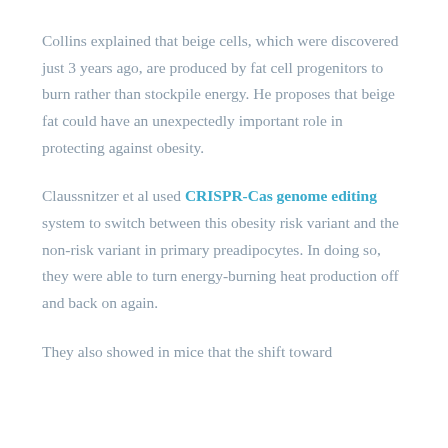Collins explained that beige cells, which were discovered just 3 years ago, are produced by fat cell progenitors to burn rather than stockpile energy. He proposes that beige fat could have an unexpectedly important role in protecting against obesity.
Claussnitzer et al used CRISPR-Cas genome editing system to switch between this obesity risk variant and the non-risk variant in primary preadipocytes. In doing so, they were able to turn energy-burning heat production off and back on again.
They also showed in mice that the shift toward